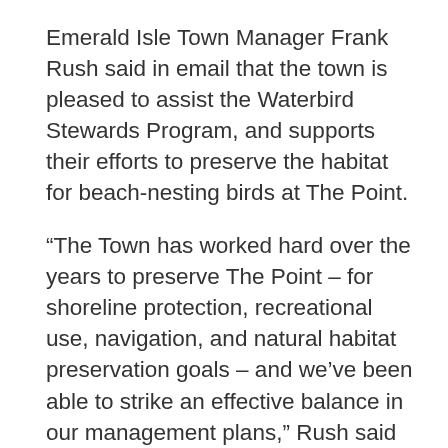Emerald Isle Town Manager Frank Rush said in email that the town is pleased to assist the Waterbird Stewards Program, and supports their efforts to preserve the habitat for beach-nesting birds at The Point.
“The Town has worked hard over the years to preserve The Point – for shoreline protection, recreational use, navigation, and natural habitat preservation goals – and we’ve been able to strike an effective balance in our management plans,” Rush said in the email. “We expect to continue this management approach in the future, and look forward to continuing our relationship